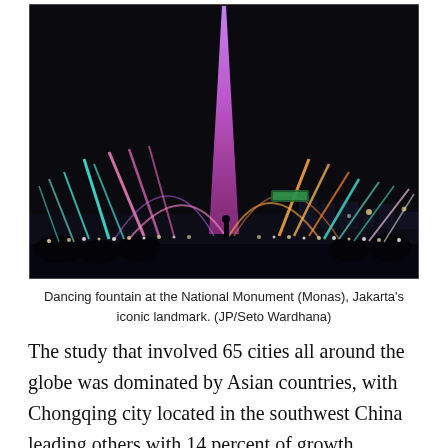[Figure (photo): Night photo of a dancing fountain light show at the National Monument (Monas) in Jakarta. Colorful illuminated water jets arch upward against a dark sky, with a tall purple/pink beam of light rising from the center. City lights are visible in the background.]
Dancing fountain at the National Monument (Monas), Jakarta's iconic landmark. (JP/Seto Wardhana)
The study that involved 65 cities all around the globe was dominated by Asian countries, with Chongqing city located in the southwest China leading others with 14 percent of growth